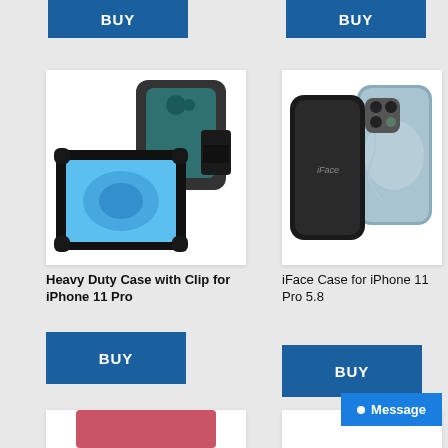[Figure (other): BUY button top left - blue rectangular button with white BUY text]
[Figure (other): BUY button top right - blue rectangular button with white BUY text]
[Figure (photo): Heavy duty phone case with belt clip for iPhone 11 Pro - black case shown from multiple angles]
[Figure (photo): iFace Case for iPhone 11 Pro 5.8 - black slim case shown with iPhone]
Heavy Duty Case with Clip for iPhone 11 Pro
iFace Case for iPhone 11 Pro 5.8
[Figure (other): BUY button - blue rectangular button with white BUY text]
[Figure (other): BUY button - blue rectangular button with white BUY text]
[Figure (other): Message button - blue button with dot and Message text]
[Figure (photo): Bottom left partial product card - appears to show red/pink phone case]
[Figure (photo): Bottom right partial product card - partially visible]